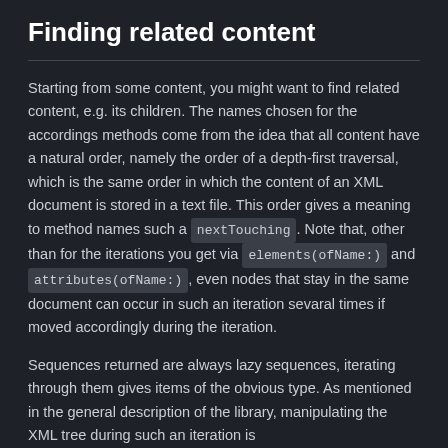Finding related content
Starting from some content, you might want to find related content, e.g. its children. The names chosen for the accordings methods come from the idea that all content have a natural order, namely the order of a depth-first traversal, which is the same order in which the content of an XML document is stored in a text file. This order gives a meaning to method names such a nextTouching. Note that, other than for the iterations you get via elements(ofName:) and attributes(ofName:), even nodes that stay in the same document can occur in such an iteration sevaral times if moved accordingly during the iteration.
Sequences returned are always lazy sequences, iterating through them gives items of the obvious type. As mentioned in the general description of the library, manipulating the XML tree during such an iteration is